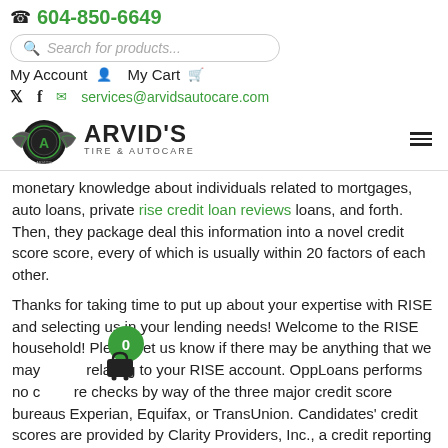📞 604-850-6649
Search for products...
My Account  My Cart
services@arvidsautocare.com
[Figure (logo): Arvid's Tire & Autocare logo with winged emblem]
monetary knowledge about individuals related to mortgages, auto loans, private rise credit loan reviews loans, and forth. Then, they package deal this information into a novel credit score score, every of which is usually within 20 factors of each other.
Thanks for taking time to put up about your expertise with RISE and selecting us in your lending needs! Welcome to the RISE household! Please let us know if there may be anything that we may relating to your RISE account. OppLoans performs no credit checks by way of the three major credit score bureaus Experian, Equifax, or TransUnion. Candidates' credit scores are provided by Clarity Providers, Inc., a credit reporting